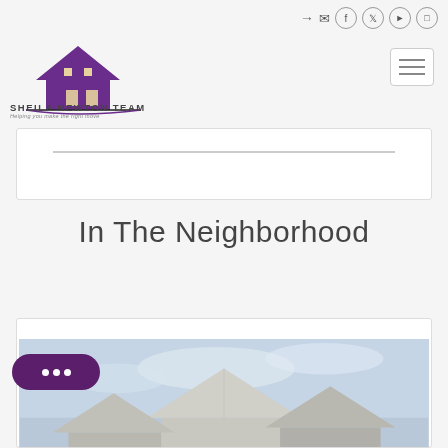[Figure (logo): Sheila Newton Team logo — purple house silhouette with text 'SHEILA NEWTON TEAM' and tagline 'Helping you make the right move']
[Figure (screenshot): White card/widget area at top of page content]
In The Neighborhood
[Figure (photo): Photograph of rooftops of suburban houses against a cloudy sky, shown inside a card widget]
[Figure (other): Chat bubble button (dark purple rounded rectangle with three white dots)]